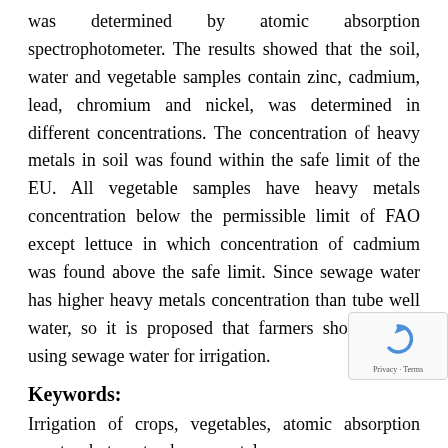was determined by atomic absorption spectrophotometer. The results showed that the soil, water and vegetable samples contain zinc, cadmium, lead, chromium and nickel, was determined in different concentrations. The concentration of heavy metals in soil was found within the safe limit of the EU. All vegetable samples have heavy metals concentration below the permissible limit of FAO except lettuce in which concentration of cadmium was found above the safe limit. Since sewage water has higher heavy metals concentration than tube well water, so it is proposed that farmers should avoid using sewage water for irrigation.
Keywords:
Irrigation of crops, vegetables, atomic absorption spectrophotometer, heavy metals.
Citation: